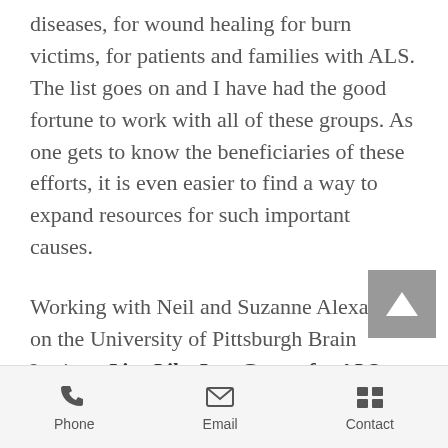diseases, for wound healing for burn victims, for patients and families with ALS. The list goes on and I have had the good fortune to work with all of these groups. As one gets to know the beneficiaries of these efforts, it is even easier to find a way to expand resources for such important causes.
Working with Neil and Suzanne Alexander on the University of Pittsburgh Brain Institute Live Like Lou Center for ALS Research was so motivating for me. Neil had been diagnosed with ALS at age 46 and he and Suzanne had two young children.
Phone   Email   Contact